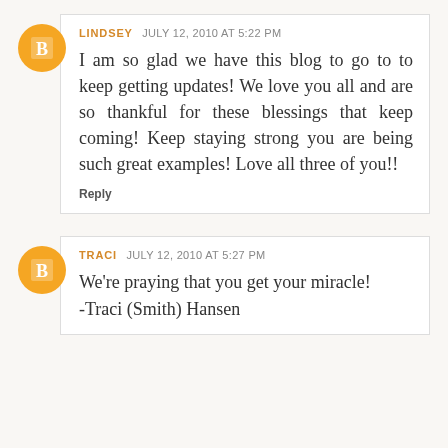LINDSEY JULY 12, 2010 AT 5:22 PM
I am so glad we have this blog to go to to keep getting updates! We love you all and are so thankful for these blessings that keep coming! Keep staying strong you are being such great examples! Love all three of you!!
Reply
TRACI JULY 12, 2010 AT 5:27 PM
We're praying that you get your miracle!
-Traci (Smith) Hansen